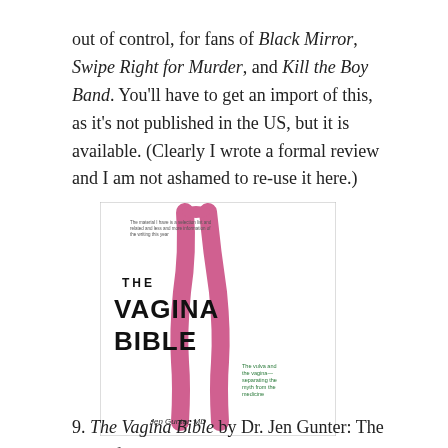out of control, for fans of Black Mirror, Swipe Right for Murder, and Kill the Boy Band. You'll have to get an import of this, as it's not published in the US, but it is available. (Clearly I wrote a formal review and I am not ashamed to re-use it here.)
[Figure (photo): Book cover of The Vagina Bible by Jen Gunter, MD. Shows two stylized anatomical legs in pink on a white background with text including 'THE VAGINA BIBLE' in large black letters and subtitle 'The vulva and the vagina—separating the myth from the medicine'.]
9. The Vagina Bible by Dr. Jen Gunter: The best of the books I read about vaginas this year.